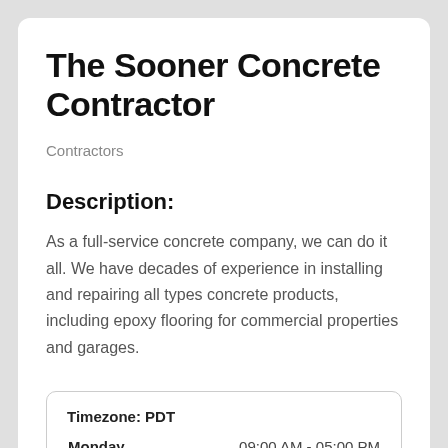The Sooner Concrete Contractor
Contractors
Description:
As a full-service concrete company, we can do it all. We have decades of experience in installing and repairing all types concrete products, including epoxy flooring for commercial properties and garages.
| Timezone: PDT |  |
| --- | --- |
| Monday | 09:00 AM - 05:00 PM |